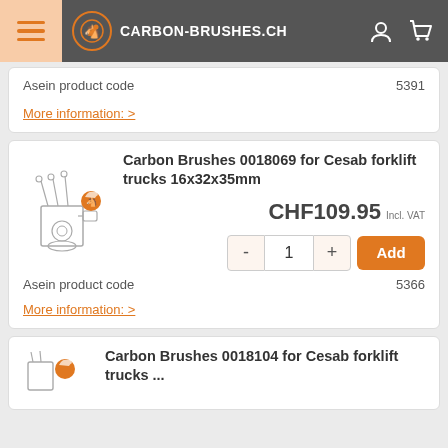CARBON-BRUSHES.CH
Asein product code   5391
More information: >
Carbon Brushes 0018069 for Cesab forklift trucks 16x32x35mm
CHF109.95 Incl. VAT
Asein product code   5366
More information: >
Carbon Brushes 0018104 for Cesab forklift trucks ...